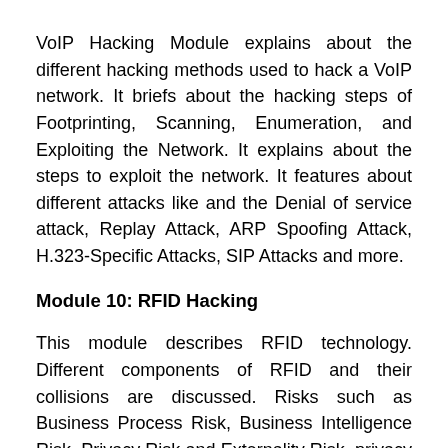VoIP Hacking Module explains about the different hacking methods used to hack a VoIP network. It briefs about the hacking steps of Footprinting, Scanning, Enumeration, and Exploiting the Network. It explains about the steps to exploit the network. It features about different attacks like and the Denial of service attack, Replay Attack, ARP Spoofing Attack, H.323-Specific Attacks, SIP Attacks and more.
Module 10: RFID Hacking
This module describes RFID technology. Different components of RFID and their collisions are discussed. Risks such as Business Process Risk, Business Intelligence Risk, Privacy Risk and Externality Risk, privacy issues of RFID are mentioned in this module. This module will look in to details of RFID security and privacy threats and how to protect against RFID attacks. Writing a simple but powerful RFID virus and worm are showcased in this module. The module also discusses the vulnerabilities in RFID-enabled